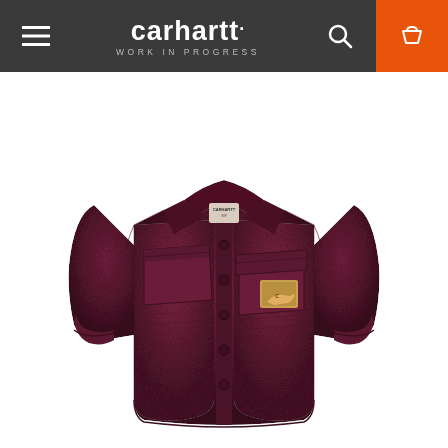carhartt WORK IN PROGRESS — navigation header with hamburger menu, search, and cart icons
[Figure (photo): A dark burgundy/wine-colored Carhartt Work In Progress button-up shirt jacket with a spread collar, long sleeves, button-front closure, a left chest patch pocket with a Carhartt logo patch, and a right chest welt pocket. The fabric has a distressed/washed denim texture. The garment is photographed flat on a white background.]